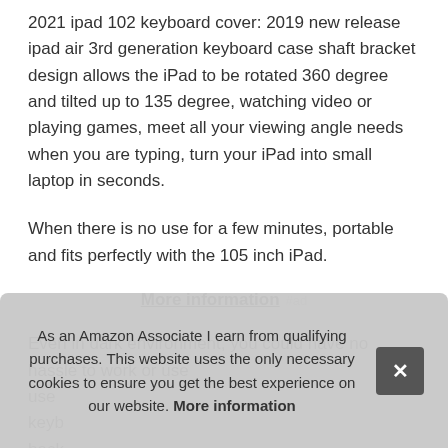2021 ipad 102 keyboard cover: 2019 new release ipad air 3rd generation keyboard case shaft bracket design allows the iPad to be rotated 360 degree and tilted up to 135 degree, watching video or playing games, meet all your viewing angle needs when you are typing, turn your iPad into small laptop in seconds.
When there is no use for a few minutes, portable and fits perfectly with the 105 inch iPad.
More information #ad
Even in dark environment, you could have no hassle to work or use... keyboard... back... Gre... diffe...
As an Amazon Associate I earn from qualifying purchases. This website uses the only necessary cookies to ensure you get the best experience on our website. More information